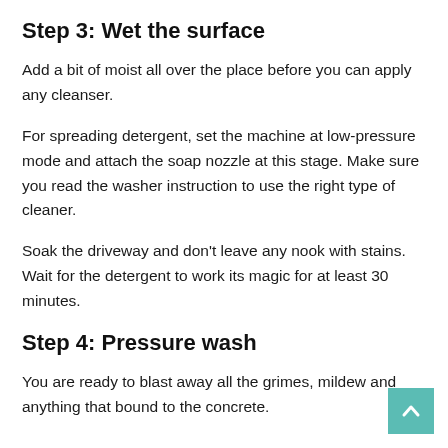Step 3: Wet the surface
Add a bit of moist all over the place before you can apply any cleanser.
For spreading detergent, set the machine at low-pressure mode and attach the soap nozzle at this stage. Make sure you read the washer instruction to use the right type of cleaner.
Soak the driveway and don't leave any nook with stains. Wait for the detergent to work its magic for at least 30 minutes.
Step 4: Pressure wash
You are ready to blast away all the grimes, mildew and anything that bound to the concrete.